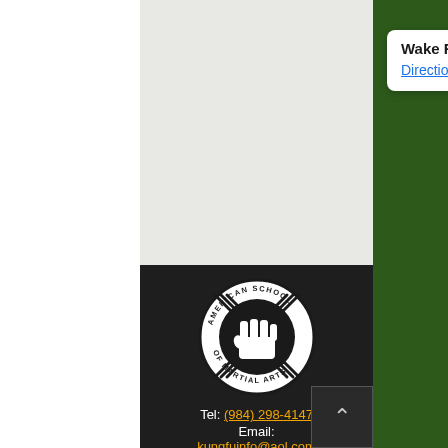[Figure (screenshot): Google Maps view showing a location popup for 'Wake Forest Kung Fu' with a Directions link, on a light grey map background.]
[Figure (logo): American School of Martial Arts circular logo with a fist graphic in the center and crossed nunchucks in the background.]
Tel: (984) 298-4147
Email:
kungfuinfo@aol.com